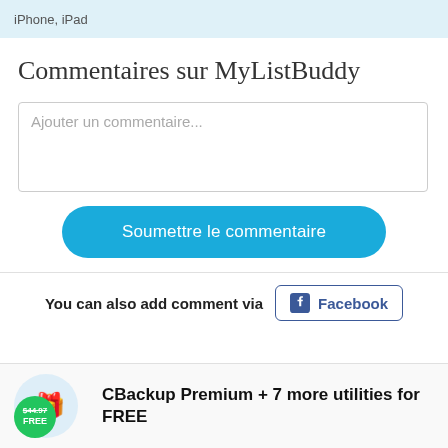iPhone, iPad
Commentaires sur MyListBuddy
Ajouter un commentaire...
Soumettre le commentaire
You can also add comment via   Facebook
[Figure (screenshot): Advertisement banner for CBackup Premium + 7 more utilities for FREE, showing $44.97 price crossed out with FREE badge]